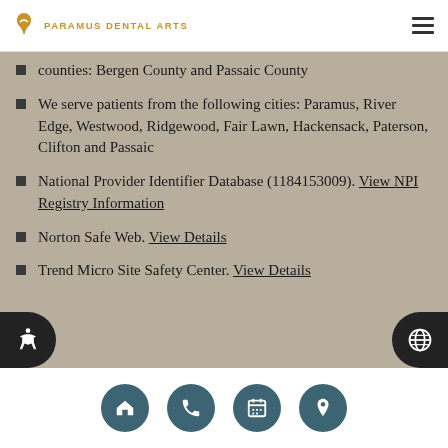Paramus Dental Arts
counties: Bergen County and Passaic County
We serve patients from the following cities: Paramus, River Edge, Westwood, Ridgewood, Fair Lawn, Hackensack, Paterson, Clifton and Passaic
National Provider Identifier Database (1184153009). View NPI Registry Information
Norton Safe Web. View Details
Trend Micro Site Safety Center. View Details
Home | Phone | Calendar | Location